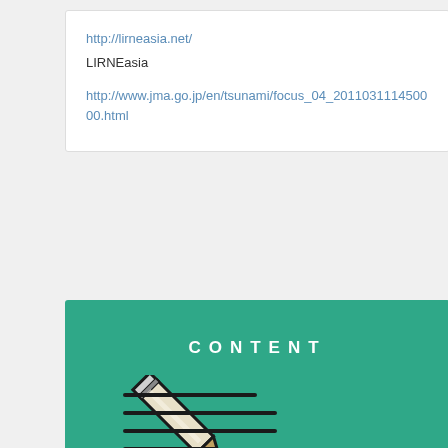http://lirneasia.net/
LIRNEasia
http://www.jma.go.jp/en/tsunami/focus_04_2011031114500​0.html
[Figure (illustration): Green banner with the word CONTENT in white spaced letters and a pencil-writing icon below it, consisting of a pencil drawing lines on a surface.]